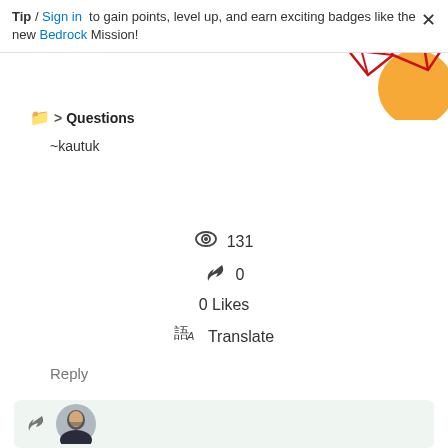Tip / Sign in to gain points, level up, and earn exciting badges like the new Bedrock Mission!
[Figure (illustration): Decorative geometric red-line polygon network with orange circular accent in the top-right corner]
🗁 > Questions
~kautuk
👁 131
↩ 0
0 Likes
⤿A Translate
Reply
[Figure (photo): User avatar photo of a person wearing glasses and dark jacket, circular crop]